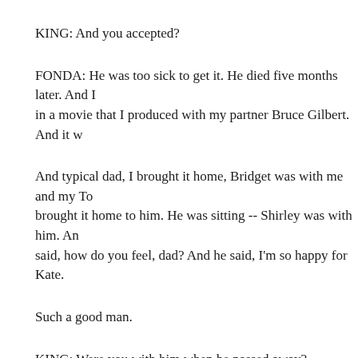KING: And you accepted?
FONDA: He was too sick to get it. He died five months later. And I in a movie that I produced with my partner Bruce Gilbert. And it w
And typical dad, I brought it home, Bridget was with me and my To brought it home to him. He was sitting -- Shirley was with him. An said, how do you feel, dad? And he said, I'm so happy for Kate.
Such a good man.
KING: Were you with him when he passed away?
FONDA: I got there about three minutes later.